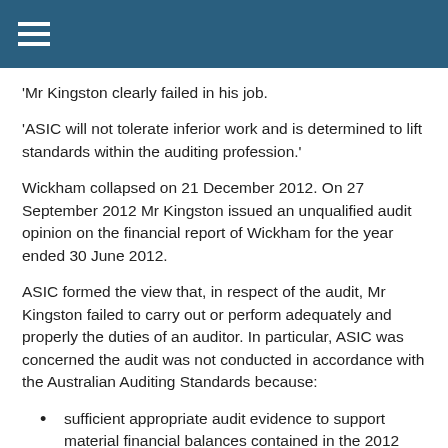[hamburger menu icon]
'Mr Kingston clearly failed in his job.
'ASIC will not tolerate inferior work and is determined to lift standards within the auditing profession.'
Wickham collapsed on 21 December 2012. On 27 September 2012 Mr Kingston issued an unqualified audit opinion on the financial report of Wickham for the year ended 30 June 2012.
ASIC formed the view that, in respect of the audit, Mr Kingston failed to carry out or perform adequately and properly the duties of an auditor. In particular, ASIC was concerned the audit was not conducted in accordance with the Australian Auditing Standards because:
sufficient appropriate audit evidence to support material financial balances contained in the 2012